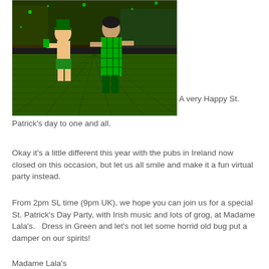[Figure (screenshot): A virtual world (Second Life-style) St. Patrick's Day scene showing two avatar characters in green outfits dancing on a green grid floor with green decorations and buildings in the background.]
A very Happy St. Patrick's day to one and all.
Okay it's a little different this year with the pubs in Ireland now closed on this occasion, but let us all smile and make it a fun virtual party instead.
From 2pm SL time (9pm UK), we hope you can join us for a special St. Patrick's Day Party, with Irish music and lots of grog, at Madame Lala's.   Dress in Green and let's not let some horrid old bug put a damper on our spirits!
Madame Lala's